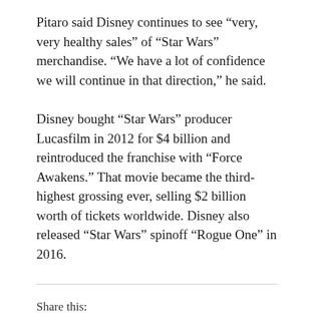Pitaro said Disney continues to see “very, very healthy sales” of “Star Wars” merchandise. “We have a lot of confidence we will continue in that direction,” he said.
Disney bought “Star Wars” producer Lucasfilm in 2012 for $4 billion and reintroduced the franchise with “Force Awakens.” That movie became the third-highest grossing ever, selling $2 billion worth of tickets worldwide. Disney also released “Star Wars” spinoff “Rogue One” in 2016.
Share this: